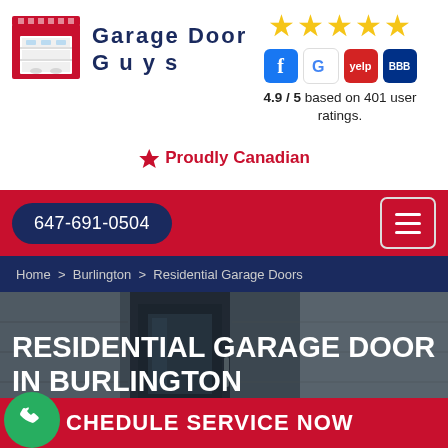[Figure (logo): Garage Door Guys logo — red garage door icon with company name in dark navy bold text]
[Figure (infographic): 5 gold stars rating, social media icons (Facebook, Google, Yelp, BBB), rating text: 4.9 / 5 based on 401 user ratings.]
🍁 Proudly Canadian
647-691-0504
Home > Burlington > Residential Garage Doors
RESIDENTIAL GARAGE DOOR IN BURLINGTON
SCHEDULE SERVICE NOW